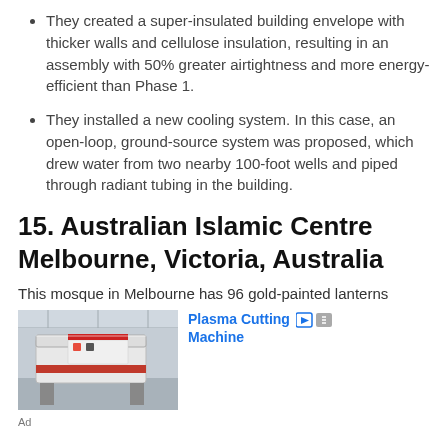They created a super-insulated building envelope with thicker walls and cellulose insulation, resulting in an assembly with 50% greater airtightness and more energy-efficient than Phase 1.
They installed a new cooling system. In this case, an open-loop, ground-source system was proposed, which drew water from two nearby 100-foot wells and piped through radiant tubing in the building.
15. Australian Islamic Centre Melbourne, Victoria, Australia
This mosque in Melbourne has 96 gold-painted lanterns
[Figure (photo): Advertisement image showing a plasma cutting machine in an industrial setting]
Ad